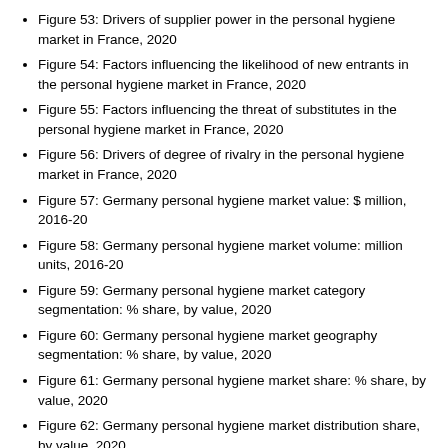Figure 53: Drivers of supplier power in the personal hygiene market in France, 2020
Figure 54: Factors influencing the likelihood of new entrants in the personal hygiene market in France, 2020
Figure 55: Factors influencing the threat of substitutes in the personal hygiene market in France, 2020
Figure 56: Drivers of degree of rivalry in the personal hygiene market in France, 2020
Figure 57: Germany personal hygiene market value: $ million, 2016-20
Figure 58: Germany personal hygiene market volume: million units, 2016-20
Figure 59: Germany personal hygiene market category segmentation: % share, by value, 2020
Figure 60: Germany personal hygiene market geography segmentation: % share, by value, 2020
Figure 61: Germany personal hygiene market share: % share, by value, 2020
Figure 62: Germany personal hygiene market distribution share, by value, 2020